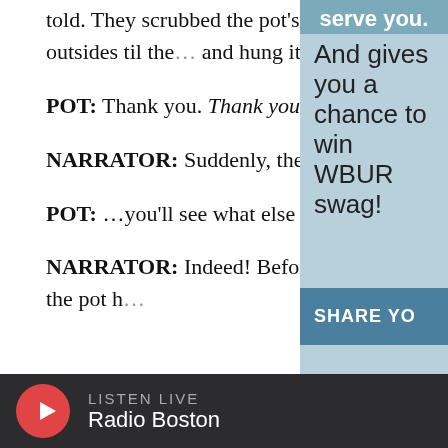told. They scrubbed the pot’s insides til they gleamed, polished its outsides til the… and hung its handle over the crackli…
POT: Thank you. Thank you! And now…
NARRATOR: Suddenly, the pot leaped… ground!
POT: …you’ll see what else I can do: s… Wheeeeee!
NARRATOR: Indeed! Before Casper a… knew what was happening, the pot h…
serve you. And gives you a chance to win WBUR swag!
SHARE YO
LISTEN LIVE Radio Boston